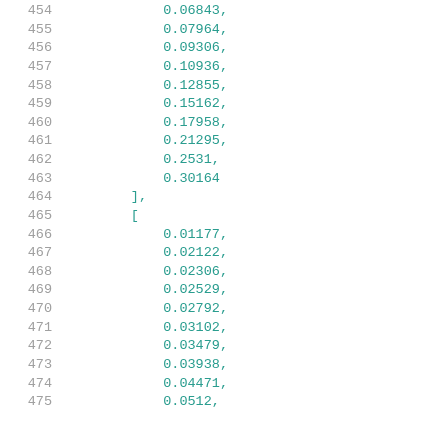454    0.06843,
455    0.07964,
456    0.09306,
457    0.10936,
458    0.12855,
459    0.15162,
460    0.17958,
461    0.21295,
462    0.2531,
463    0.30164
464    ],
465    [
466    0.01177,
467    0.02122,
468    0.02306,
469    0.02529,
470    0.02792,
471    0.03102,
472    0.03479,
473    0.03938,
474    0.04471,
475    0.0512,